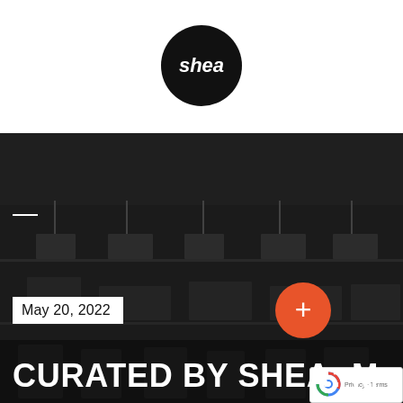[Figure (logo): Shea logo: black circle with white italic 'shea' text]
[Figure (photo): Dark interior photo showing shelves with hangers and items, used as background banner]
May 20, 2022
CURATED BY SHEA: MA…